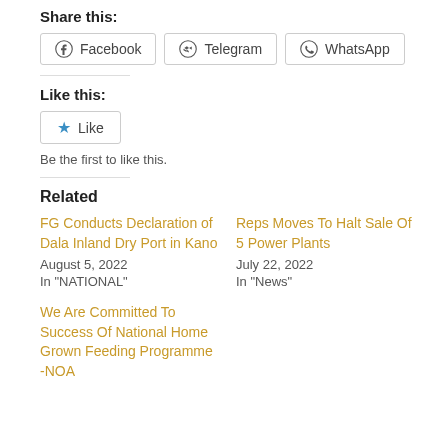Share this:
Facebook  Telegram  WhatsApp
Like this:
Like
Be the first to like this.
Related
FG Conducts Declaration of Dala Inland Dry Port in Kano
August 5, 2022
In "NATIONAL"
Reps Moves To Halt Sale Of 5 Power Plants
July 22, 2022
In "News"
We Are Committed To Success Of National Home Grown Feeding Programme -NOA